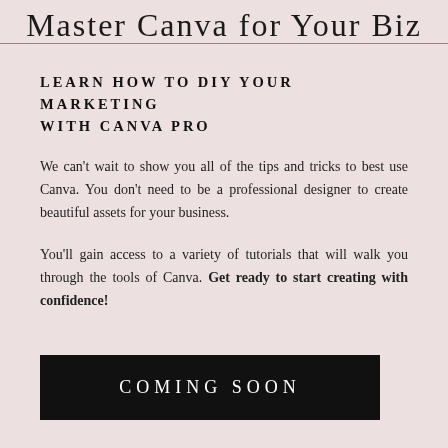Master Canva for Your Biz
LEARN HOW TO DIY YOUR MARKETING WITH CANVA PRO
We can't wait to show you all of the tips and tricks to best use Canva. You don't need to be a professional designer to create beautiful assets for your business.
You'll gain access to a variety of tutorials that will walk you through the tools of Canva. Get ready to start creating with confidence!
COMING SOON